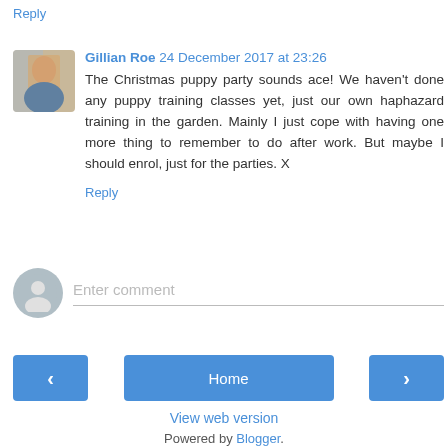Reply
Gillian Roe 24 December 2017 at 23:26
The Christmas puppy party sounds ace! We haven't done any puppy training classes yet, just our own haphazard training in the garden. Mainly I just cope with having one more thing to remember to do after work. But maybe I should enrol, just for the parties. X
Reply
Enter comment
Home
View web version
Powered by Blogger.